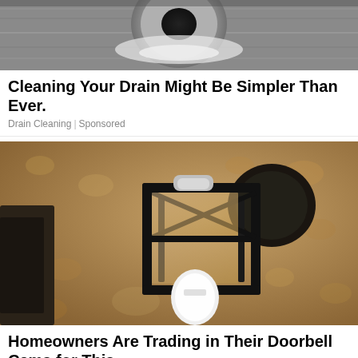[Figure (photo): Close-up photo of a metallic sink drain with water or residue around it, viewed from above on a stainless steel surface.]
Cleaning Your Drain Might Be Simpler Than Ever.
Drain Cleaning | Sponsored
[Figure (photo): Photo of a black wrought-iron outdoor wall lantern mounted on a rough stucco/adobe wall, with a white light bulb visible at the bottom.]
Homeowners Are Trading in Their Doorbell Cams for This.
Keilini | Sponsored